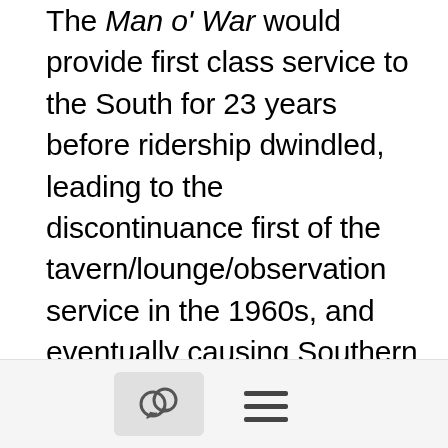The Man o' War would provide first class service to the South for 23 years before ridership dwindled, leading to the discontinuance first of the tavern/lounge/observation service in the 1960s, and eventually causing Southern Railway (which merged with the CofG in 1963) to discontinue the train entirely in May of 1970. Since Southern didn't join Amtrak until 1979, the equipment would continue to see regular service on other Southern Railway trains through the end of the decade. Eventually the cars were sold off to different owners in different parts of the country and
[Figure (other): UI navigation bar with a chat/comment icon button and a hamburger menu icon]